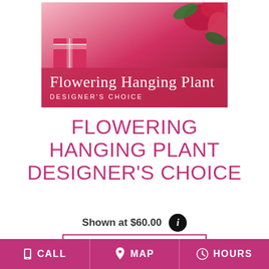[Figure (photo): Product image of a Flowering Hanging Plant with red flowers and green leaves, overlaid with a pink-red banner showing 'Flowering Hanging Plant' in script and 'DESIGNER'S CHOICE' in uppercase letters.]
FLOWERING HANGING PLANT DESIGNER'S CHOICE
Shown at $60.00
BUY NOW
CALL   MAP   HOURS